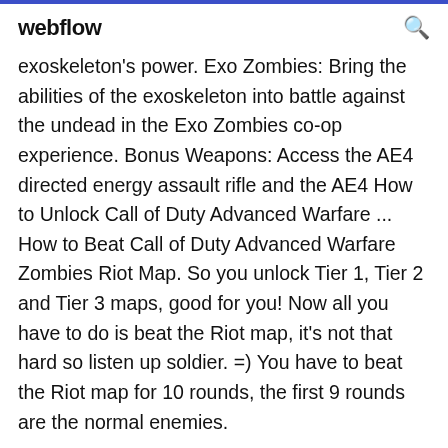webflow
exoskeleton's power. Exo Zombies: Bring the abilities of the exoskeleton into battle against the undead in the Exo Zombies co-op experience. Bonus Weapons: Access the AE4 directed energy assault rifle and the AE4 How to Unlock Call of Duty Advanced Warfare ... How to Beat Call of Duty Advanced Warfare Zombies Riot Map. So you unlock Tier 1, Tier 2 and Tier 3 maps, good for you! Now all you have to do is beat the Riot map, it's not that hard so listen up soldier. =) You have to beat the Riot map for 10 rounds, the first 9 rounds are the normal enemies.
Tips and Tricks for Call of Duty: Advanced